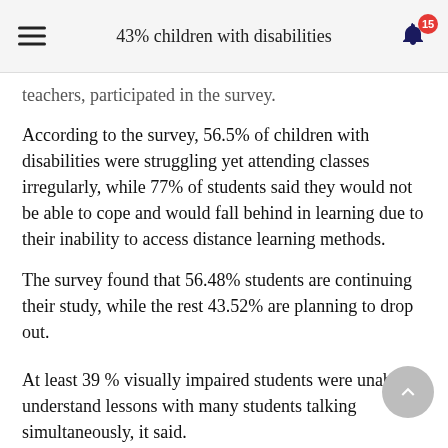43% children with disabilities
teachers, participated in the survey.
According to the survey, 56.5% of children with disabilities were struggling yet attending classes irregularly, while 77% of students said they would not be able to cope and would fall behind in learning due to their inability to access distance learning methods.
The survey found that 56.48% students are continuing their study, while the rest 43.52% are planning to drop out.
At least 39 % visually impaired students were unable to understand lessons with many students talking simultaneously, it said.